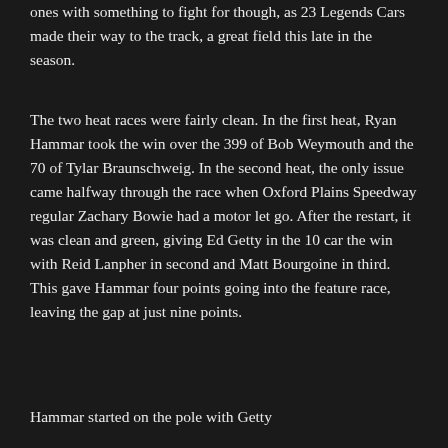ones with something to fight for though, as 23 Legends Cars made their way to the track, a great field this late in the season.
The two heat races were fairly clean. In the first heat, Ryan Hammar took the win over the 399 of Bob Weymouth and the 70 of Tylar Braunschweig. In the second heat, the only issue came halfway through the race when Oxford Plains Speedway regular Zachary Bowie had a motor let go. After the restart, it was clean and green, giving Ed Getty in the 10 car the win with Reid Lanpher in second and Matt Bourgoine in third. This gave Hammar four points going into the feature race, leaving the gap at just nine points.
Hammar started on the pole with Getty